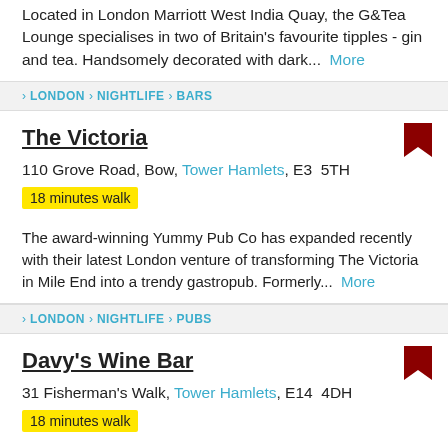Located in London Marriott West India Quay, the G&Tea Lounge specialises in two of Britain's favourite tipples - gin and tea. Handsomely decorated with dark...  More
› LONDON › NIGHTLIFE › BARS
The Victoria
110 Grove Road, Bow, Tower Hamlets, E3  5TH
18 minutes walk
The award-winning Yummy Pub Co has expanded recently with their latest London venture of transforming The Victoria in Mile End into a trendy gastropub. Formerly...  More
› LONDON › NIGHTLIFE › PUBS
Davy's Wine Bar
31 Fisherman's Walk, Tower Hamlets, E14  4DH
18 minutes walk
At ground floor level on Fisherman's Walk at Canary Wharf,